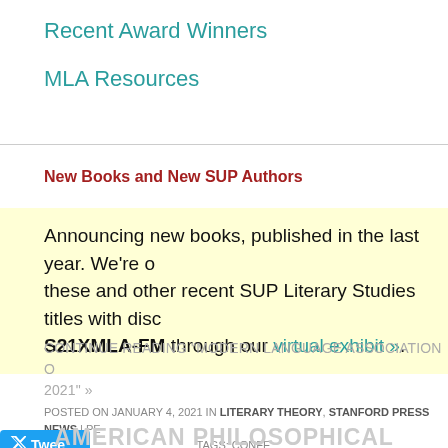Recent Award Winners
MLA Resources
New Books and New SUP Authors
Announcing new books, published in the last year. We're offering these and other recent SUP Literary Studies titles with discount code S21XMLA-FM through our virtual exhibit ».
CONTINUE READING "MODERN LANGUAGE ASSOCIATION 2021" »
POSTED ON JANUARY 4, 2021 IN LITERARY THEORY, STANFORD PRESS NEWS | PE... TAGS: CONFE...
Tweet
AMERICAN PHILOSOPHICAL ASSOCIATIO...